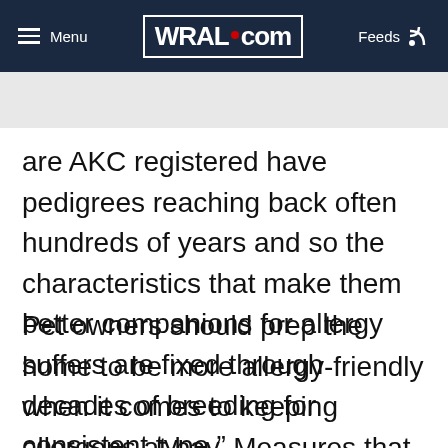Menu | WRAL.com | Feeds
are AKC registered have pedigrees reaching back often hundreds of years and so the characteristics that make them better companions for allergy suffers are fixed through decades of breeding for consistent type.”
Pet owners should prep the home to be more allergy-friendly when it comes to keeping allergens at bay. Measures that help